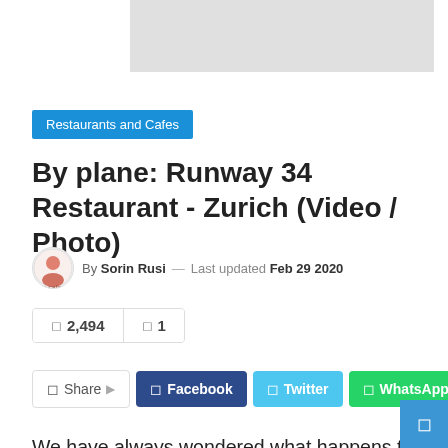[Figure (photo): Grey placeholder image at top of page]
Restaurants and Cafes
By plane: Runway 34 Restaurant - Zurich (Video / Photo)
By Sorin Rusi — Last updated Feb 29 2020
2,494  1
Share  Facebook  Twitter  WhatsApp
We have always wondered what happens to outdated aircraft. Many of them are abandoned by different corners of airports, others reach old beasts or aircraft cemeteries. Some of them are more fortunate to be exhibited in aviation museums, but there are also a number of airplanes that end up being refurbished and